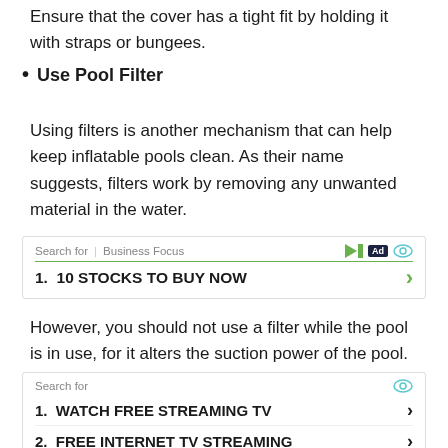Ensure that the cover has a tight fit by holding it with straps or bungees.
Use Pool Filter
Using filters is another mechanism that can help keep inflatable pools clean. As their name suggests, filters work by removing any unwanted material in the water.
[Figure (infographic): Ad box: Search for | Business Focus with ad icons. Item 1: 10 STOCKS TO BUY NOW with green chevron arrow.]
However, you should not use a filter while the pool is in use, for it alters the suction power of the pool.
[Figure (infographic): Ad box: Search for with eye icon. Item 1: WATCH FREE STREAMING TV with chevron. Item 2: FREE INTERNET TV STREAMING with chevron. Footer: Ad | Business Focus with play icon.]